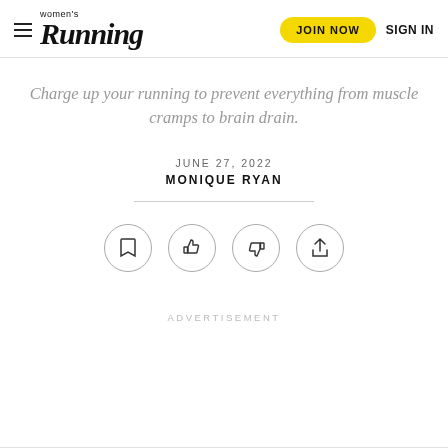Women's Running — JOIN NOW   SIGN IN
Charge up your running to prevent everything from muscle cramps to brain drain.
JUNE 27, 2022
MONIQUE RYAN
[Figure (other): Row of four circular icon buttons: bookmark, thumbs up, thumbs down, share]
ADVERTISEMENT